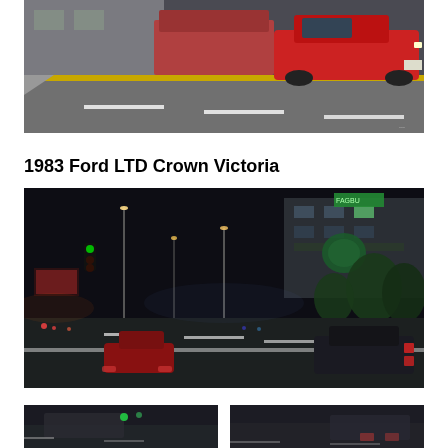[Figure (photo): Daytime street scene with a red car driving on road near a building with yellow curb markings. Gray concrete street with white lane markings.]
1983 Ford LTD Crown Victoria
[Figure (photo): Nighttime urban street scene showing cars driving on a wide boulevard. City lights, street lamps, illuminated signs, trees, and a multi-story building visible in background. Dark sky with a large dark sedan visible on the right side of the road.]
[Figure (photo): Partial view of another scene, cropped at bottom of page.]